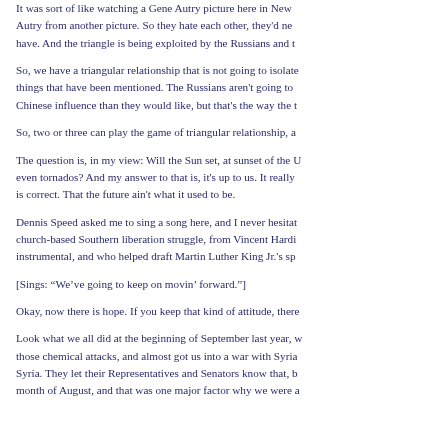It was sort of like watching a Gene Autry picture here in New York where Autry from another picture. So they hate each other, they'd never have. And the triangle is being exploited by the Russians and th
So, we have a triangular relationship that is not going to isolate things that have been mentioned. The Russians aren't going to Chinese influence than they would like, but that's the way the t
So, two or three can play the game of triangular relationship, a
The question is, in my view: Will the Sun set, at sunset of the U even tornados? And my answer to that is, it's up to us. It really is correct. That the future ain't what it used to be.
Dennis Speed asked me to sing a song here, and I never hesitat church-based Southern liberation struggle, from Vincent Hardi instrumental, and who helped draft Martin Luther King Jr.'s sp
[Sings: “We’ve going to keep on movin’ forward.”]
Okay, now there is hope. If you keep that kind of attitude, there
Look what we all did at the beginning of September last year, w those chemical attacks, and almost got us into a war with Syria Syria. They let their Representatives and Senators know that, b month of August, and that was one major factor why we were a